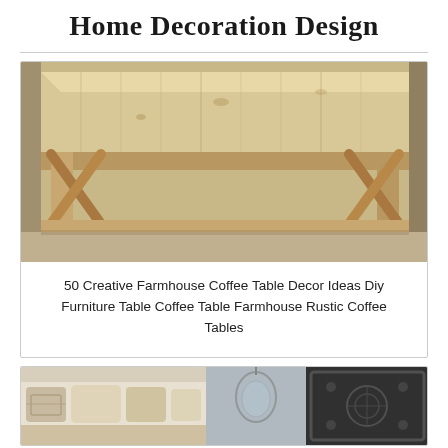Home Decoration Design
[Figure (photo): A rustic farmhouse-style coffee table made of light unfinished pine wood, viewed from above-front angle, showing X-shaped cross bracing on the legs and a lower shelf, photographed in what appears to be a workshop or garage.]
50 Creative Farmhouse Coffee Table Decor Ideas Diy Furniture Table Coffee Table Farmhouse Rustic Coffee Tables
[Figure (photo): Bottom partial image showing a white sofa with decorative pillows on the left, a glass pendant light fixture in the center, and a dark ornate framed panel on the right.]